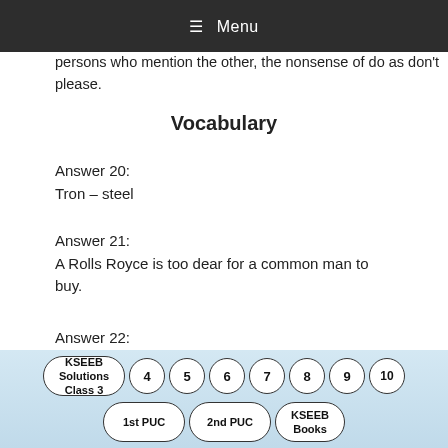≡ Menu
persons who mention the other, the nonsense of do as you please.
Vocabulary
Answer 20:
Tron – steel
Answer 21:
A Rolls Royce is too dear for a common man to buy.
Answer 22:
KSEEB Solutions Class 3 | 4 | 5 | 6 | 7 | 8 | 9 | 10 | 1st PUC | 2nd PUC | KSEEB Books